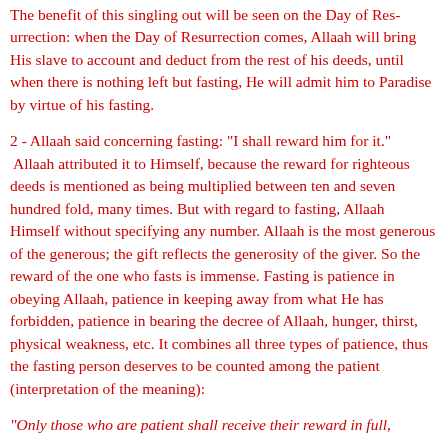The benefit of this singling out will be seen on the Day of Resurrection: when the Day of Resurrection comes, Allaah will bring His slave to account and deduct from the rest of his deeds, until when there is nothing left but his fasting, He will admit him to Paradise by virtue of his fasting.
2 - Allaah said concerning fasting: "I shall reward him for it." Allaah attributed it to Himself, because the reward for righteous deeds is mentioned as being multiplied between ten and seven hundred fold, many times. But with regard to fasting, Allaah Himself without specifying any number. Allaah is the most generous of the generous; the gift reflects the generosity of the giver. So the reward of the one who fasts is immense. Fasting is patience in obeying Allaah, patience in keeping away from what He has forbidden, patience in bearing the decree of Allaah, hunger, thirst, physical weakness, etc. It combines all three types of patience, thus the fasting person deserves to be counted among the patient (interpretation of the meaning):
"Only those who are patient shall receive their reward in full,
[al-Zumar 39:10]
Majaalis Shahr Ramadaan, p. 13 (Source)